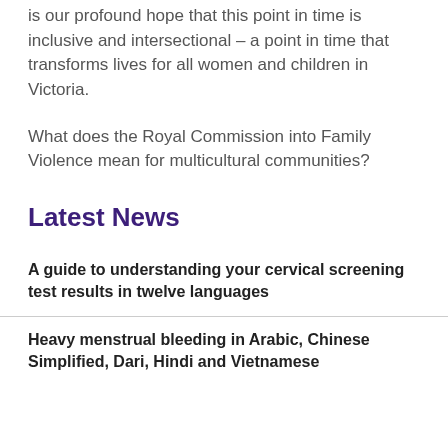is our profound hope that this point in time is inclusive and intersectional – a point in time that transforms lives for all women and children in Victoria.
What does the Royal Commission into Family Violence mean for multicultural communities?
Latest News
A guide to understanding your cervical screening test results in twelve languages
Heavy menstrual bleeding in Arabic, Chinese Simplified, Dari, Hindi and Vietnamese